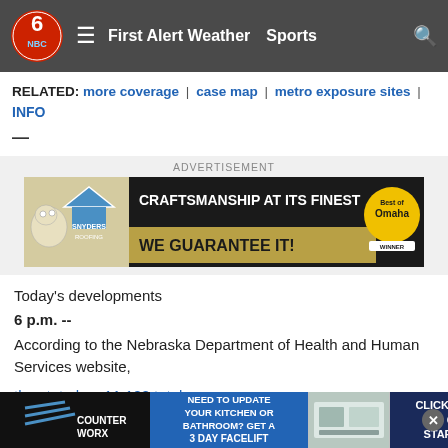First Alert Weather | Sports
RELATED: more coverage | case map | metro exposure sites | INFO
[Figure (screenshot): Advertisement banner for Snyders Roofing: 'CRAFTSMANSHIP AT ITS FINEST - WE GUARANTEE IT!' with Best of Omaha badge]
Today's developments
6 p.m. --
According to the Nebraska Department of Health and Human Services website,
the state has 11,122 total cases
and 13[...] 18 cases w[...] 349.
[Figure (screenshot): Bottom overlay advertisement for Counterworx kitchen/bathroom renovation: 'NEED TO UPDATE YOUR KITCHEN OR BATHROOM? GET A 3 DAY FACELIFT' with 'CLICK HERE TO GET STARTED' CTA]